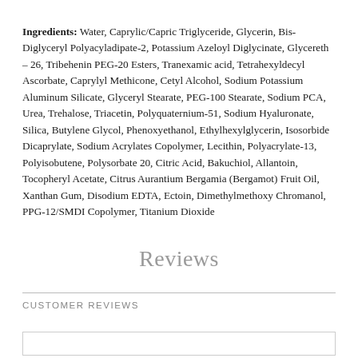Ingredients: Water, Caprylic/Capric Triglyceride, Glycerin, Bis-Diglyceryl Polyacyladipate-2, Potassium Azeloyl Diglycinate, Glycereth – 26, Tribehenin PEG-20 Esters, Tranexamic acid, Tetrahexyldecyl Ascorbate, Caprylyl Methicone, Cetyl Alcohol, Sodium Potassium Aluminum Silicate, Glyceryl Stearate, PEG-100 Stearate, Sodium PCA, Urea, Trehalose, Triacetin, Polyquaternium-51, Sodium Hyaluronate, Silica, Butylene Glycol, Phenoxyethanol, Ethylhexylglycerin, Isosorbide Dicaprylate, Sodium Acrylates Copolymer, Lecithin, Polyacrylate-13, Polyisobutene, Polysorbate 20, Citric Acid, Bakuchiol, Allantoin, Tocopheryl Acetate, Citrus Aurantium Bergamia (Bergamot) Fruit Oil, Xanthan Gum, Disodium EDTA, Ectoin, Dimethylmethoxy Chromanol, PPG-12/SMDI Copolymer, Titanium Dioxide
Reviews
CUSTOMER REVIEWS